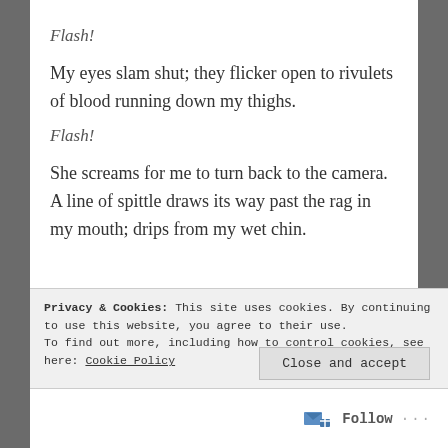Flash!
My eyes slam shut; they flicker open to rivulets of blood running down my thighs.
Flash!
She screams for me to turn back to the camera. A line of spittle draws its way past the rag in my mouth; drips from my wet chin.
Privacy & Cookies: This site uses cookies. By continuing to use this website, you agree to their use. To find out more, including how to control cookies, see here: Cookie Policy
Close and accept
Follow